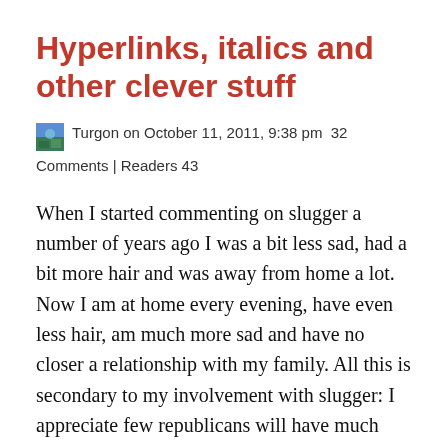Hyperlinks, italics and other clever stuff
Turgon on October 11, 2011, 9:38 pm  32 Comments | Readers 43
When I started commenting on slugger a number of years ago I was a bit less sad, had a bit more hair and was away from home a lot. Now I am at home every evening, have even less hair, am much more sad and have no closer a relationship with my family. All this is secondary to my involvement with slugger: I appreciate few republicans will have much sympathy, nor many